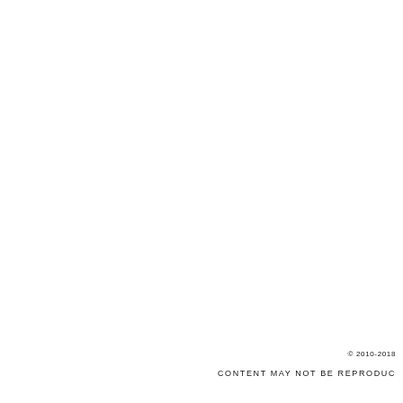© 2010-2018
CONTENT MAY NOT BE REPRODUCED